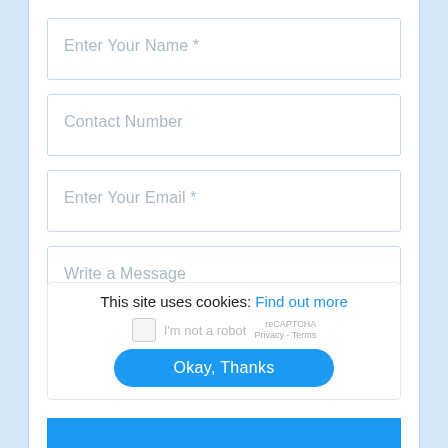Enter Your Name *
Contact Number
Enter Your Email *
Write a Message
This site uses cookies: Find out more
I'm not a robot
Okay, Thanks